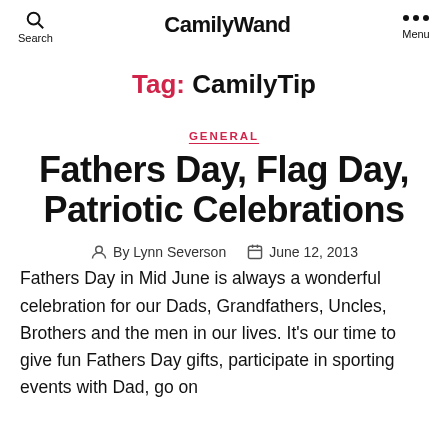Search  CamilyWand  Menu
Tag: CamilyTip
GENERAL
Fathers Day, Flag Day, Patriotic Celebrations
By Lynn Severson   June 12, 2013
Fathers Day in Mid June is always a wonderful celebration for our Dads, Grandfathers, Uncles, Brothers and the men in our lives. It's our time to give fun Fathers Day gifts, participate in sporting events with Dad, go on